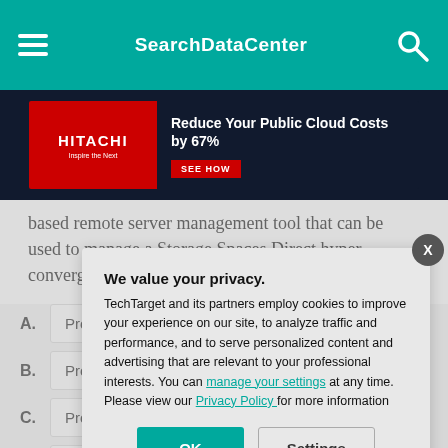SearchDataCenter
[Figure (infographic): Hitachi advertisement banner: 'Reduce Your Public Cloud Costs by 67%' with SEE HOW CTA button]
based remote server management tool that can be used to manage a Storage Spaces Direct hyper-converged system?
A. Project Re
B. Project An
C. Project Co
D. Project H
We value your privacy. TechTarget and its partners employ cookies to improve your experience on our site, to analyze traffic and performance, and to serve personalized content and advertising that are relevant to your professional interests. You can manage your settings at any time. Please view our Privacy Policy for more information